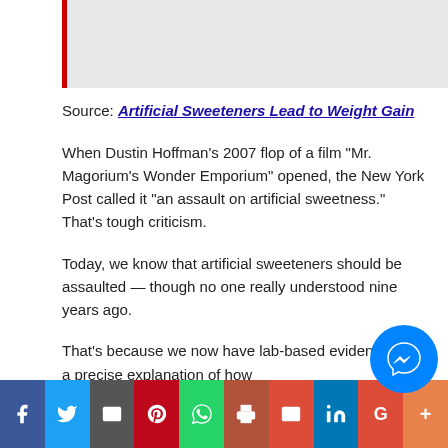Source: Artificial Sweeteners Lead to Weight Gain
When Dustin Hoffman’s 2007 flop of a film “Mr. Magorium’s Wonder Emporium” opened, the New York Post called it “an assault on artificial sweetness.” That’s tough criticism.
Today, we know that artificial sweeteners should be assaulted — though no one really understood nine years ago.
That’s because we now have lab-based evidence and a precise explanation of how